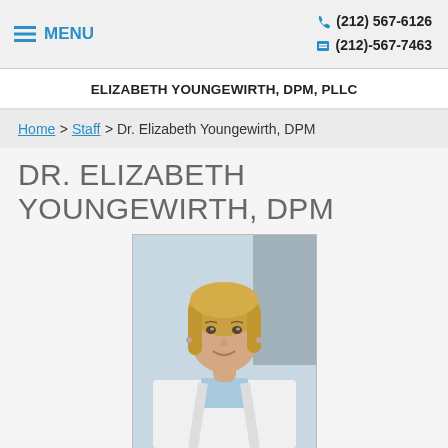≡ MENU   (212) 567-6126   (212)-567-7463
ELIZABETH YOUNGEWIRTH, DPM, PLLC
Home > Staff > Dr. Elizabeth Youngewirth, DPM
DR. ELIZABETH YOUNGEWIRTH, DPM
[Figure (photo): Professional headshot of Dr. Elizabeth Youngewirth, a blonde woman in a white coat with a light blue collar, smiling, in a clinical setting.]
Dr. Elizabeth Youngewirth